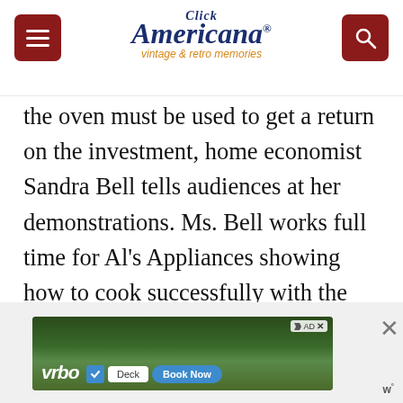Click Americana vintage & retro memories
the oven must be used to get a return on the investment, home economist Sandra Bell tells audiences at her demonstrations. Ms. Bell works full time for Al's Appliances showing how to cook successfully with the Amana, Magic Chef and Tappan microwave ovens they handle.
[Figure (screenshot): VRBO advertisement banner showing outdoor deck scene with Book Now button]
[Figure (other): Heart/favorite button overlay (dark red circle with heart icon)]
[Figure (other): Share button overlay (circle with share icon)]
[Figure (other): What's Next thumbnail with text: Use your fingers or a...]